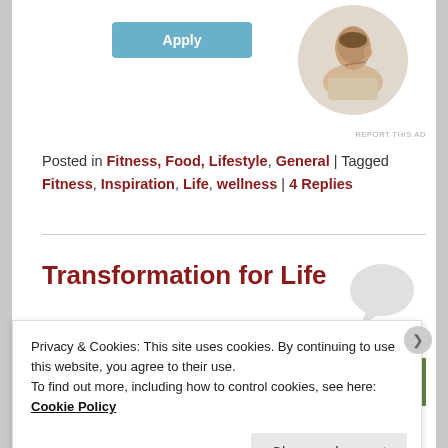[Figure (photo): A person (man) sitting and thinking, with hand on chin, looking upward, profile photo in circular crop]
REPORT THIS AD
Posted in Fitness, Food, Lifestyle, General | Tagged Fitness, Inspiration, Life, wellness | 4 Replies
Transformation for Life
Posted on April 8, 2018 by Dr Sheela Nambiar
[Figure (photo): Green leafy nature image strip, partially visible]
Privacy & Cookies: This site uses cookies. By continuing to use this website, you agree to their use.
To find out more, including how to control cookies, see here: Cookie Policy
Close and accept